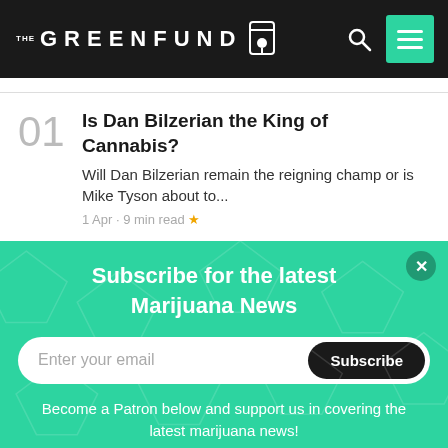THE GREENFUND
Is Dan Bilzerian the King of Cannabis?
Will Dan Bilzerian remain the reigning champ or is Mike Tyson about to...
1 Apr · 9 min read ★
Subscribe for the latest Marijuana News
Enter your email
Subscribe
Become a Patron below and support us in covering the latest marijuana news!
Become a patron